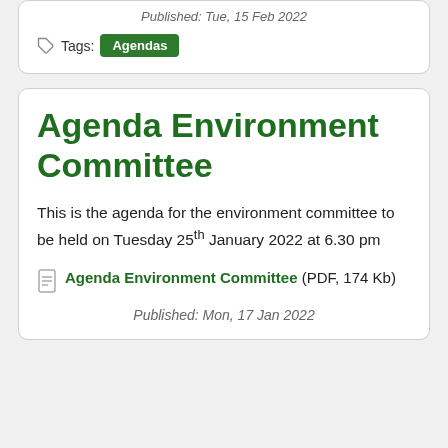Published: Tue, 15 Feb 2022
Tags: Agendas
Agenda Environment Committee
This is the agenda for the environment committee to be held on Tuesday 25th January 2022 at 6.30 pm
Agenda Environment Committee (PDF, 174 Kb)
Published: Mon, 17 Jan 2022